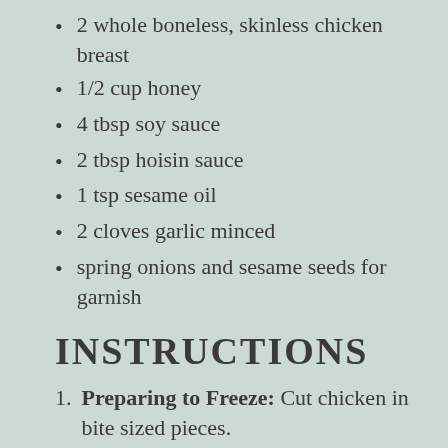2 whole boneless, skinless chicken breast
1/2 cup honey
4 tbsp soy sauce
2 tbsp hoisin sauce
1 tsp sesame oil
2 cloves garlic minced
spring onions and sesame seeds for garnish
INSTRUCTIONS
Preparing to Freeze: Cut chicken in bite sized pieces.
In a large bowl, combine garlic, honey,